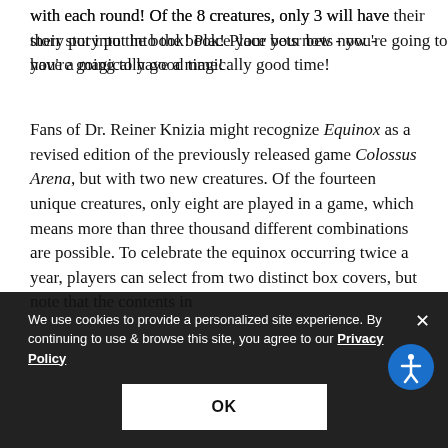with each round! Of the 8 creatures, only 3 will have their story put into the book! Place your bets now - you're going to have a magically good time!
Fans of Dr. Reiner Knizia might recognize Equinox as a revised edition of the previously released game Colossus Arena, but with two new creatures. Of the fourteen unique creatures, only eight are played in a game, which means more than three thousand different combinations are possible. To celebrate the equinox occurring twice a year, players can select from two distinct box covers, but note that the contents in
We use cookies to provide a personalized site experience. By continuing to use & browse this site, you agree to our Privacy Policy
OK